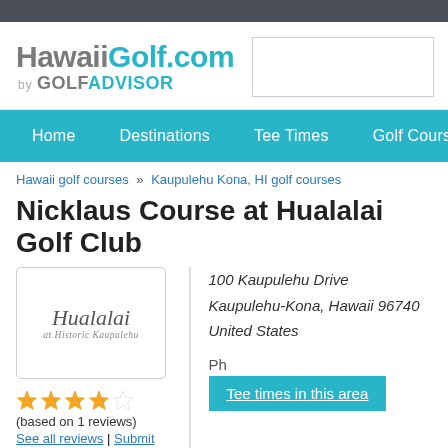[Figure (logo): HawaiiGolf.com by GOLF ADVISOR logo]
Home  Destinations  Tee Times  Golf Courses  Articles
Hawaii golf courses » Kaupulehu Kona, HI golf courses
Nicklaus Course at Hualalai Golf Club
[Figure (logo): Hualalai at Kohala Kaupulehu resort logo]
100 Kaupulehu Drive
Kaupulehu-Kona, Hawaii 96740
United States
Tee times in this area
(based on 1 reviews)
See all reviews | Submit your review